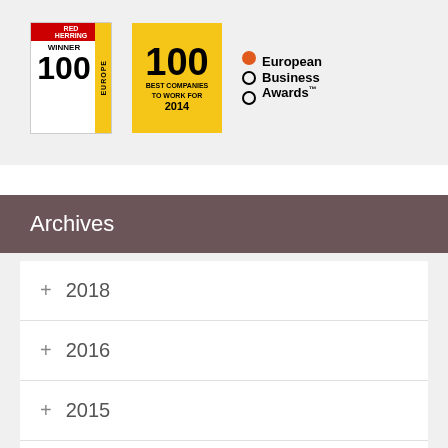[Figure (logo): Three award logos: Red Herring Winner 100 Europe, 100 Best Companies to Work For 2014, and European Business Awards]
Archives
+ 2018
+ 2016
+ 2015
+ 2014